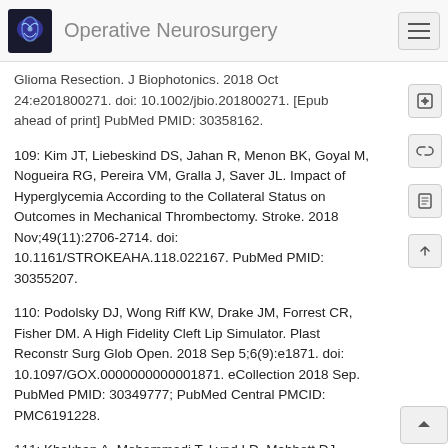Operative Neurosurgery
Glioma Resection. J Biophotonics. 2018 Oct 24:e201800271. doi: 10.1002/jbio.201800271. [Epub ahead of print] PubMed PMID: 30358162.
109: Kim JT, Liebeskind DS, Jahan R, Menon BK, Goyal M, Nogueira RG, Pereira VM, Gralla J, Saver JL. Impact of Hyperglycemia According to the Collateral Status on Outcomes in Mechanical Thrombectomy. Stroke. 2018 Nov;49(11):2706-2714. doi: 10.1161/STROKEAHA.118.022167. PubMed PMID: 30355207.
110: Podolsky DJ, Wong Riff KW, Drake JM, Forrest CR, Fisher DM. A High Fidelity Cleft Lip Simulator. Plast Reconstr Surg Glob Open. 2018 Sep 5;6(9):e1871. doi: 10.1097/GOX.0000000000001871. eCollection 2018 Sep. PubMed PMID: 30349777; PubMed Central PMCID: PMC6191228.
111: Khakban A, Mohammadi T, Lynd LD, Mabbott DJ, Bouffet E, Gastonguay L, Zafari Z, Malkin D, Taylor MD, Marra CA. How do parents and providers trade-off